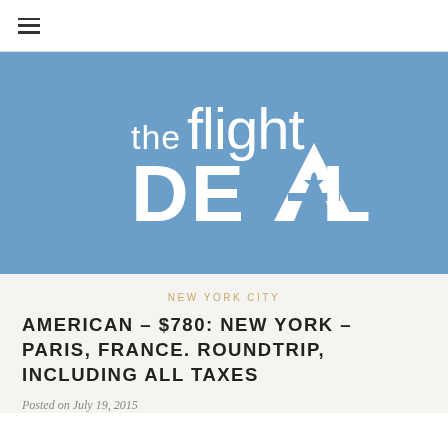≡
[Figure (logo): The Flight Deal logo — white text on blue background with airplane silhouette integrated into the letter A in DEAL]
NEW YORK CITY
AMERICAN – $780: NEW YORK – PARIS, FRANCE. ROUNDTRIP, INCLUDING ALL TAXES
Posted on July 19, 2015